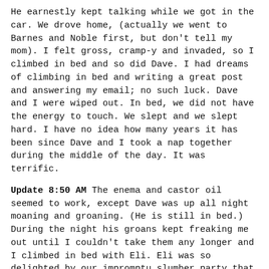He earnestly kept talking while we got in the car. We drove home, (actually we went to Barnes and Noble first, but don't tell my mom). I felt gross, cramp-y and invaded, so I climbed in bed and so did Dave. I had dreams of climbing in bed and writing a great post and answering my email; no such luck. Dave and I were wiped out. In bed, we did not have the energy to touch. We slept and we slept hard. I have no idea how many years it has been since Dave and I took a nap together during the middle of the day. It was terrific.
Update 8:50 AM The enema and castor oil seemed to work, except Dave was up all night moaning and groaning. (He is still in bed.) During the night his groans kept freaking me out until I couldn't take them any longer and I climbed in bed with Eli. Eli was so delighted by our impromptu slumber party that he couldn't sleep either. He kept poking me with his legs and asking my why I had turned off his night light.
"Daddy always lets me keep it on."